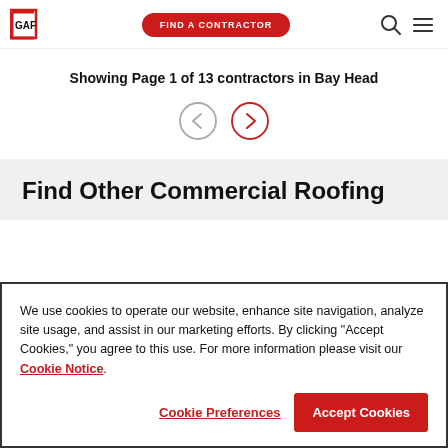GAF — Find a Contractor navigation header
Showing Page 1 of 13 contractors in Bay Head
[Figure (other): Pagination arrows: left arrow (inactive, gray outline circle) and right arrow (active, red outline circle)]
Find Other Commercial Roofing
We use cookies to operate our website, enhance site navigation, analyze site usage, and assist in our marketing efforts. By clicking "Accept Cookies," you agree to this use. For more information please visit our Cookie Notice.
Cookie Preferences | Accept Cookies